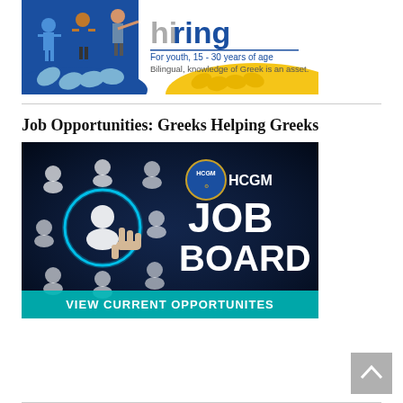[Figure (illustration): Hiring banner with figures of people and text 'hiring', 'For youth, 15-30 years of age', 'Bilingual, knowledge of Greek is an asset.' Blue, white, yellow color scheme.]
Job Opportunities: Greeks Helping Greeks
[Figure (illustration): HCGM Job Board promotional image. Dark blue background with person in suit pressing a glowing person icon button, surrounded by network of user icons. Text reads 'HCGM JOB BOARD' and 'VIEW CURRENT OPPORTUNITES' in teal.]